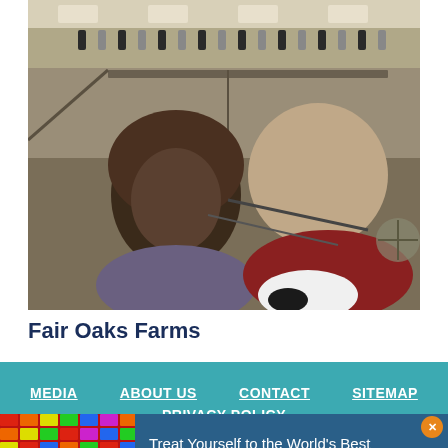[Figure (photo): Two children (seen from behind) watching dairy cows in a large farm facility. The girl has a brown bob haircut and the boy is wearing a red shirt. Rows of black and white dairy cows are visible in a large barn.]
Fair Oaks Farms
MEDIA   ABOUT US   CONTACT   SITEMAP   PRIVACY POLICY
Treat Yourself to the World's Best Gummies at Albanese →